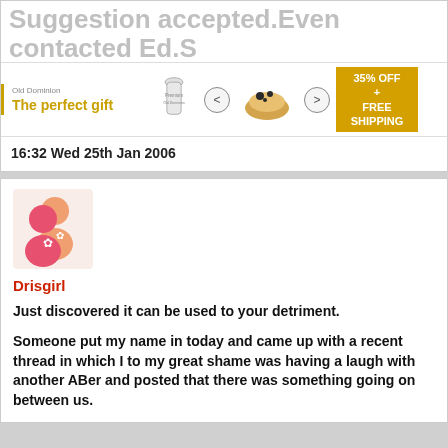Suggestion accepted.Even contacted Ed.S
[Figure (infographic): Advertisement banner: 'The perfect gift' with food product image, navigation arrows, and '35% OFF + FREE SHIPPING' offer badge]
16:32 Wed 25th Jan 2006
[Figure (illustration): User avatar icon showing two stylized person figures in orange/red tones]
Drisgirl
Just discovered it can be used to your detriment.
Someone put my name in today and came up with a recent thread in which I to my great shame was having a laugh with another ABer and posted that there was something going on between us.